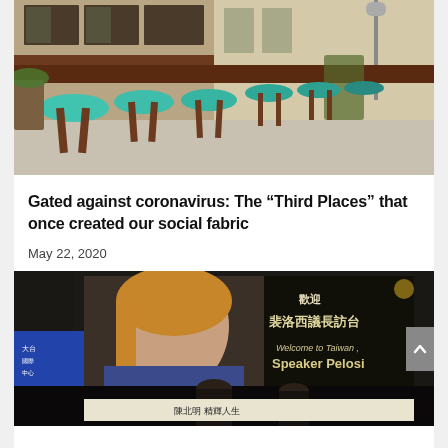[Figure (photo): Empty outdoor cafe/bar patio with round teal/turquoise stools and bar-height seating on a sidewalk, storefront with brick building and windows visible]
Gated against coronavirus: The “Third Places” that once created our social fabric
May 22, 2020
[Figure (photo): Billboard or screen in Taiwan displaying welcome message for Speaker Pelosi in Chinese characters and English: 歡迎 裴洛西議長訪台 / Welcome to Taiwan, Speaker Pelosi, with people visible in foreground]